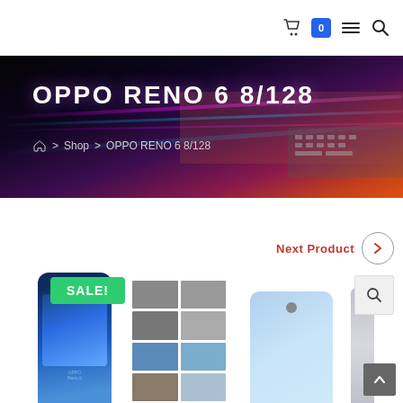Navigation bar with cart (0), menu, and search icons
OPPO RENO 6 8/128
Home > Shop > OPPO RENO 6 8/128
Next Product
[Figure (photo): OPPO Reno 6 product page showing phone with SALE badge, thumbnail grid, light blue back of phone, and slim profile view]
SALE!